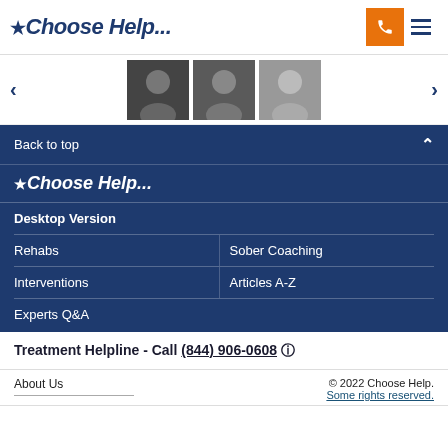*Choose Help...
[Figure (photo): Carousel of three person photos with left and right navigation arrows]
Back to top
*Choose Help...
Desktop Version
Rehabs
Sober Coaching
Interventions
Articles A-Z
Experts Q&A
Treatment Helpline - Call (844) 906-0608 ⓘ
About Us
© 2022 Choose Help. Some rights reserved.